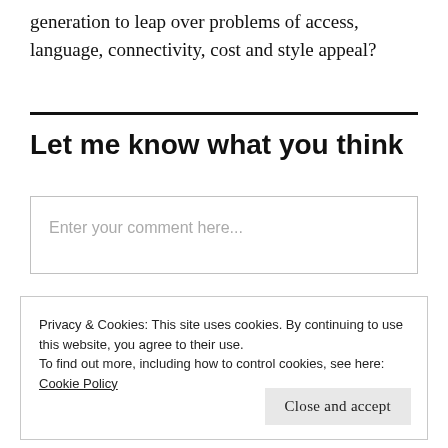generation to leap over problems of access, language, connectivity, cost and style appeal?
Let me know what you think
Enter your comment here...
Privacy & Cookies: This site uses cookies. By continuing to use this website, you agree to their use.
To find out more, including how to control cookies, see here: Cookie Policy
Close and accept